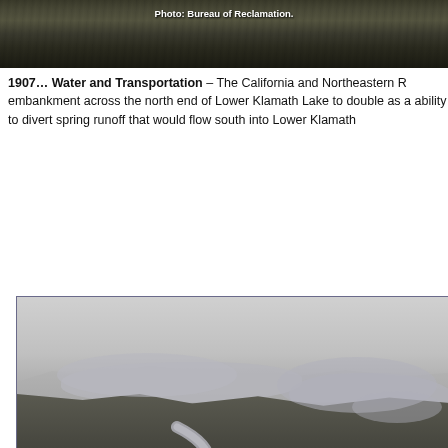[Figure (photo): Black and white photograph at top of page, partially cropped, showing forested landscape. Caption overlay reads 'Photo: Bureau of Reclamation.']
1907… Water and Transportation – The California and Northeastern R embankment across the north end of Lower Klamath Lake to double as a ability to divert spring runoff that would flow south into Lower Klamath
[Figure (photo): Black and white aerial photograph showing a winding river or creek meandering through forested hills and lowlands, with lake or wetland areas visible in the background and mountains on the horizon.]